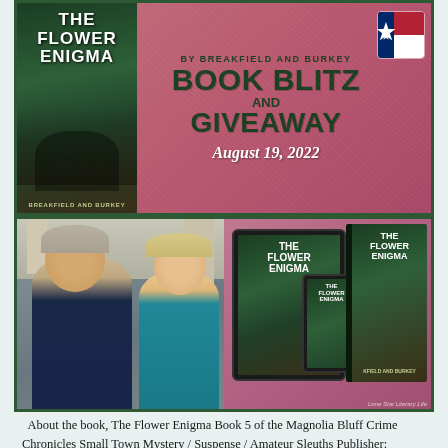[Figure (illustration): Book blitz and giveaway promotional banner for 'The Flower Enigma' by Breakfield and Burkey, dated August 19, 2022, with book cover on left, decorative pink/red background with dark green bold text reading 'BOOK BLITZ AND GIVEAWAY', and a Texas flag icon. Below: two-panel photo row showing the authors (a man and woman) on the left, and book mockup images (tablet, phone, and paperback) on the right against pink background.]
About the book, The Flower Enigma Book 5 of the Magnolia Bluff Crime Chronicles Small Town Mystery / Suspense / Amateur Sleuths Publisher: ICABOD Press Pages: 198 pages Publication Date: August 20, 2022 SCROLL DOWN FOR GIVEAWAY! Imagine a romantic getaway